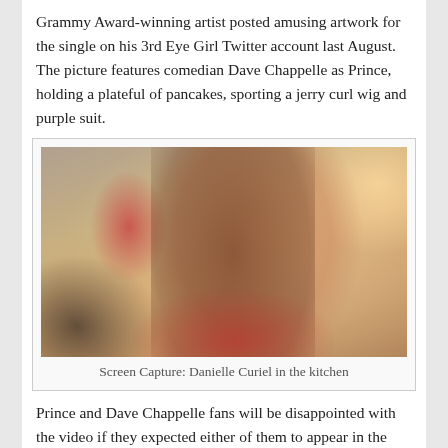Grammy Award-winning artist posted amusing artwork for the single on his 3rd Eye Girl Twitter account last August.  The picture features comedian Dave Chappelle as Prince, holding a plateful of pancakes, sporting a jerry curl wig and purple suit.
[Figure (photo): Screen capture photo of Danielle Curiel smiling in a kitchen, wearing a red polka dot top, with a blurred background including a red shape on the left.]
Screen Capture: Danielle Curiel in the kitchen
Prince and Dave Chappelle fans will be disappointed with the video if they expected either of them to appear in the new clip. Director of the music video, Danielle